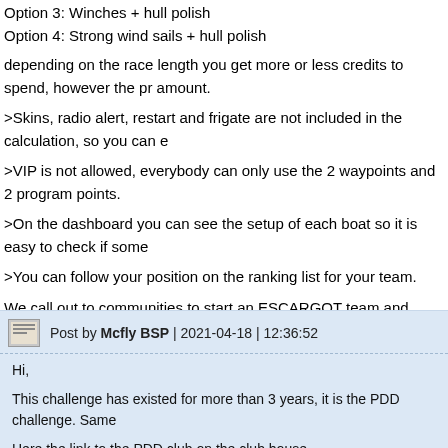Option 3: Winches + hull polish
Option 4: Strong wind sails + hull polish
depending on the race length you get more or less credits to spend, however the pr amount.
>Skins, radio alert, restart and frigate are not included in the calculation, so you can e
>VIP is not allowed, everybody can only use the 2 waypoints and 2 program points.
>On the dashboard you can see the setup of each boat so it is easy to check if some
>You can follow your position on the ranking list for your team.
We call out to communities to start an ESCARGOT team and follow the rules.
Who can beat us!!!
10 Comments
Post by Mcfly BSP | 2021-04-18 | 12:36:52
Hi,
This challenge has existed for more than 3 years, it is the PDD challenge. Same
Here the link to the PDD club on the club house. https://forum.virtualregatta.com/clubs/70-fren-club-des-pdd/
Or directly the link to the registration file: